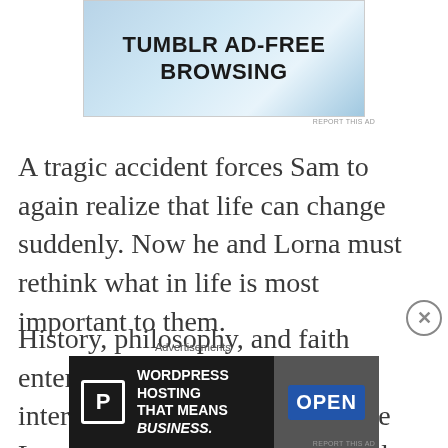[Figure (other): Tumblr ad banner with blue gradient background and bold text reading TUMBLR AD-FREE BROWSING]
A tragic accident forces Sam to again realize that life can change suddenly. Now he and Lorna must rethink what in life is most important to them.
History, philosophy, and faith enter the scene through interdimensional time travel. The Land of Twilight Trilogy is filled with adventure and
Advertisements
[Figure (other): WordPress Hosting advertisement with text WORDPRESS HOSTING THAT MEANS BUSINESS. and an OPEN sign image]